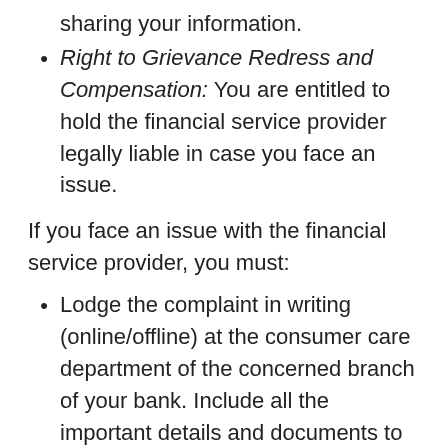sharing your information.
Right to Grievance Redress and Compensation: You are entitled to hold the financial service provider legally liable in case you face an issue.
If you face an issue with the financial service provider, you must:
Lodge the complaint in writing (online/offline) at the consumer care department of the concerned branch of your bank. Include all the important details and documents to support your complaint.
If you do not receive a satisfactory reply, or if there's no response from the branch